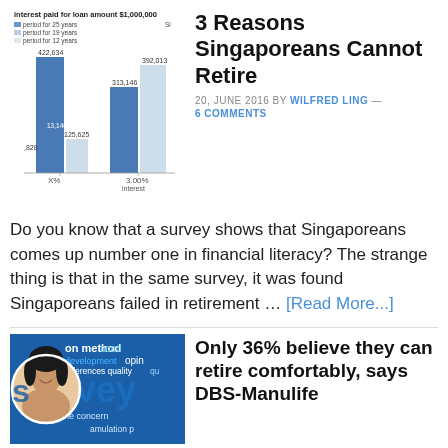[Figure (grouped-bar-chart): Interest paid for loan amount $1,000,000]
3 Reasons Singaporeans Cannot Retire
20, JUNE 2016 BY WILFRED LING — 6 COMMENTS
Do you know that a survey shows that Singaporeans comes up number one in financial literacy? The strange thing is that in the same survey, it was found Singaporeans failed in retirement … [Read More...]
[Figure (photo): Photo thumbnail of a woman smiling with survey/research text background, for article 'Only 36% believe they can retire comfortably, says DBS-Manulife']
Only 36% believe they can retire comfortably, says DBS-Manulife